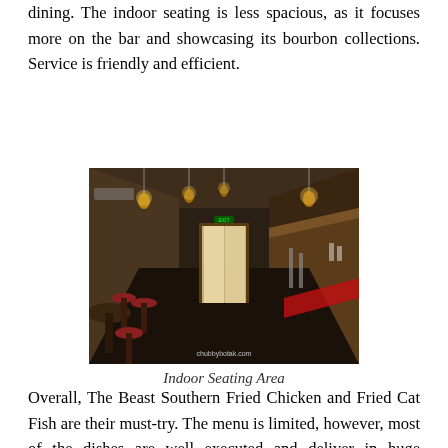dining. The indoor seating is less spacious, as it focuses more on the bar and showcasing its bourbon collections. Service is friendly and efficient.
[Figure (photo): Interior photo of a dimly lit bar/restaurant with dark wood bar counter on the right, round tables and stools on the left, pendant Edison bulb lights hanging from the ceiling, and a bright door at the far end. Watermark reads 'chubbybotak.com'.]
Indoor Seating Area
Overall, The Beast Southern Fried Chicken and Fried Cat Fish are their must-try. The menu is limited, however, most of the dishes are well executed and deliver in huge portions. Those who appreciate their drinks, this place has a lot to offer. A must visit place